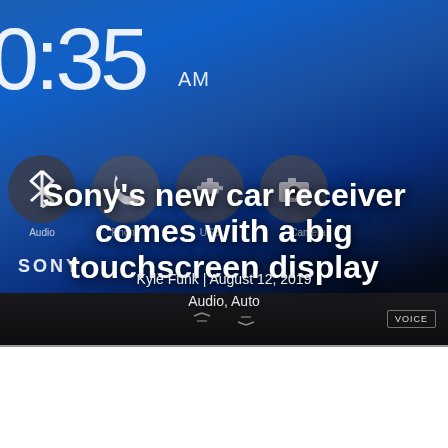[Figure (photo): Sony car receiver touchscreen display showing clock reading 0:35 AM with Bluetooth, Phone, USB, and Camera app icons on a blue background, with Sony branding and hardware control bar at bottom]
Sony's new car receiver comes with a big touchscreen display
Kyle Funk | August 12, 2019
Audio, Auto